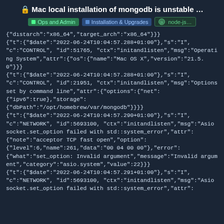Mac local installation of mongodb is unstable …
Ops and Admin | Installation & Upgrades | node-js...
{"distarch":"x86_64","target_arch":"x86_64"}}}
{"t":{"$date":"2022-06-24T10:04:57.288+01:00"},"s":"I",
"c":"CONTROL", "id":51765, "ctx":"initandlisten","msg":"Operating System","attr":{"os":{"name":"Mac OS X","version":"21.5.0"}}}
{"t":{"$date":"2022-06-24T10:04:57.288+01:00"},"s":"I",
"c":"CONTROL", "id":21951, "ctx":"initandlisten","msg":"Options set by command line","attr":{"options":{"net":{"ipv6":true},"storage":{"dbPath":"/opt/homebrew/var/mongodb"}}}}
{"t":{"$date":"2022-06-24T10:04:57.290+01:00"},"s":"I",
"c":"NETWORK", "id":5693100, "ctx":"initandlisten","msg":"Asio socket.set_option failed with std::system_error","attr":{"note":"acceptor TCP fast open","option":{"level":6,"name":261,"data":"00 04 00 00"},"error":{"what":"set_option: Invalid argument","message":"Invalid argument","category":"asio.system","value":22}}}
{"t":{"$date":"2022-06-24T10:04:57.291+01:00"},"s":"I",
"c":"NETWORK", "id":5693100, "ctx":"initandlisten","msg":"Asio socket.set_option failed with std::system_error","attr":